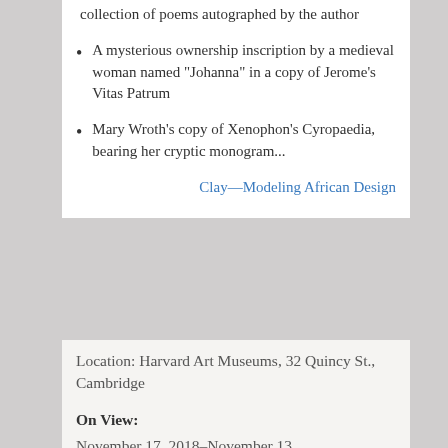collection of poems autographed by the author
A mysterious ownership inscription by a medieval woman named "Johanna" in a copy of Jerome's Vitas Patrum
Mary Wroth's copy of Xenophon's Cyropaedia, bearing her cryptic monogram...
Clay—Modeling African Design
Location: Harvard Art Museums, 32 Quincy St., Cambridge
On View:
November 17, 2018–November 13,